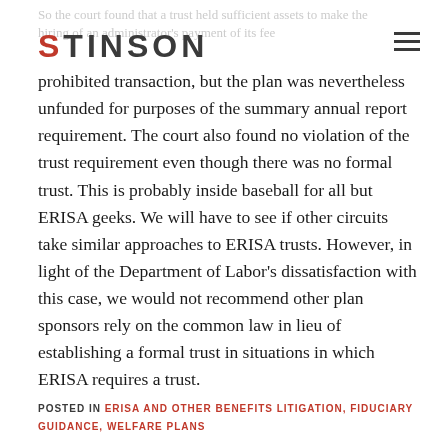STINSON
So the court found that a trust held sufficient assets to make the hiring of an administrator's payment of its fees a prohibited transaction, but the plan was nevertheless unfunded for purposes of the summary annual report requirement. The court also found no violation of the trust requirement even though there was no formal trust. This is probably inside baseball for all but ERISA geeks. We will have to see if other circuits take similar approaches to ERISA trusts. However, in light of the Department of Labor's dissatisfaction with this case, we would not recommend other plan sponsors rely on the common law in lieu of establishing a formal trust in situations in which ERISA requires a trust.
POSTED IN ERISA AND OTHER BENEFITS LITIGATION, FIDUCIARY GUIDANCE, WELFARE PLANS